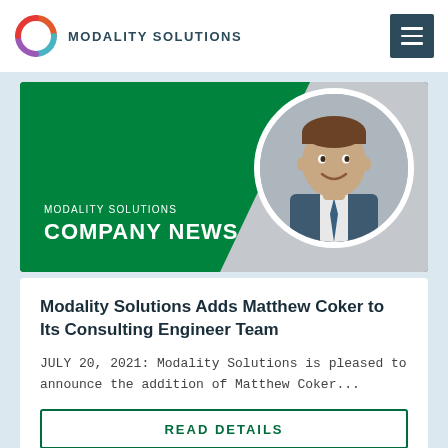MODALITY SOLUTIONS
[Figure (photo): Profile photo of Matthew Coker, a young man in a suit and tie, smiling, circular crop]
MODALITY SOLUTIONS COMPANY NEWS
Modality Solutions Adds Matthew Coker to Its Consulting Engineer Team
JULY 20, 2021: Modality Solutions is pleased to announce the addition of Matthew Coker...
READ DETAILS